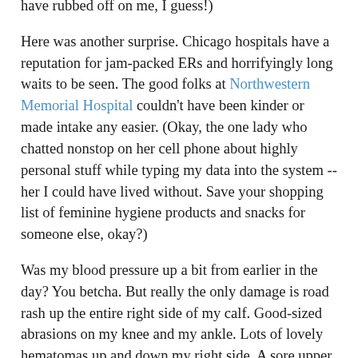have rubbed off on me, I guess!)
Here was another surprise. Chicago hospitals have a reputation for jam-packed ERs and horrifyingly long waits to be seen. The good folks at Northwestern Memorial Hospital couldn't have been kinder or made intake any easier. (Okay, the one lady who chatted nonstop on her cell phone about highly personal stuff while typing my data into the system -- her I could have lived without. Save your shopping list of feminine hygiene products and snacks for someone else, okay?)
Was my blood pressure up a bit from earlier in the day? You betcha. But really the only damage is road rash up the entire right side of my calf. Good-sized abrasions on my knee and my ankle. Lots of lovely hematomas up and down my right side. A sore upper arm from the tetanus shot the doctor insisted I needed.
Quite frankly, I am one lucky lady.
A big, big thank you to the officers who responded so quickly,